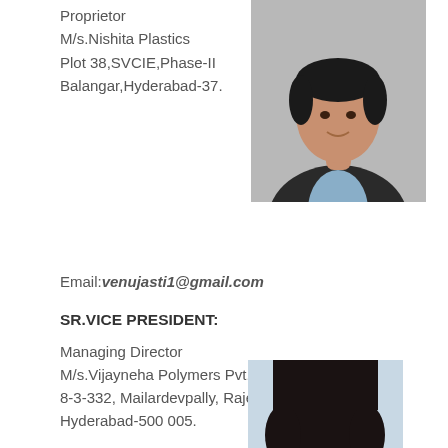Proprietor
M/s.Nishita Plastics
Plot 38,SVCIE,Phase-II
Balangar,Hyderabad-37.
[Figure (photo): Portrait photo of a middle-aged man in a dark suit and light blue shirt, against a grey background.]
Email:venujasti1@gmail.com
SR.VICE PRESIDENT:
Managing Director
M/s.Vijayneha Polymers Pvt. Ltd
8-3-332, Mailardevpally, Rajendranagar,
Hyderabad-500 005.
[Figure (photo): Partial portrait photo of a person, showing the top of their head with black hair, against a light blue/grey background.]